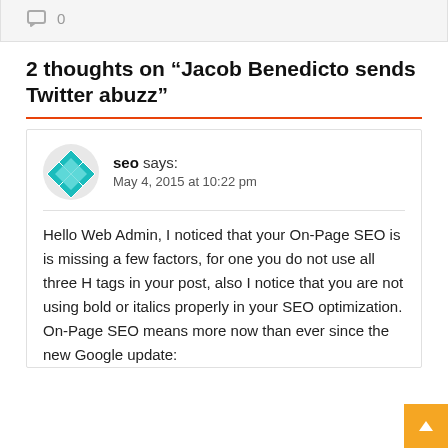0
2 thoughts on “Jacob Benedicto sends Twitter abuzz”
seo says:
May 4, 2015 at 10:22 pm
Hello Web Admin, I noticed that your On-Page SEO is is missing a few factors, for one you do not use all three H tags in your post, also I notice that you are not using bold or italics properly in your SEO optimization. On-Page SEO means more now than ever since the new Google update: Panda. No longer can you just slap in a bunch of keywords without them being semantically related to your content and they can't be in the same places they once were.